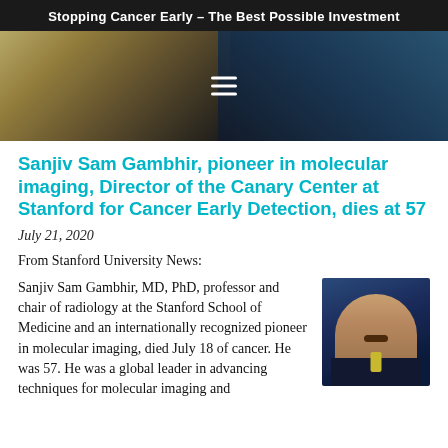Stopping Cancer Early – The Best Possible Investment
[Figure (photo): Hero banner image showing a dark scene with a person; hamburger menu icon overlay in center]
Sanjiv Sam Gambhir, pioneer in molecular imaging, Director of the Canary Center at Stanford for Cancer Early Detection, dies at 57
July 21, 2020
From Stanford University News:
Sanjiv Sam Gambhir, MD, PhD, professor and chair of radiology at the Stanford School of Medicine and an internationally recognized pioneer in molecular imaging, died July 18 of cancer. He was 57.  He was a global leader in advancing techniques for molecular imaging and
[Figure (photo): Portrait photo of Sanjiv Sam Gambhir, a man with dark hair and mustache wearing a dark suit with a yellow tie]